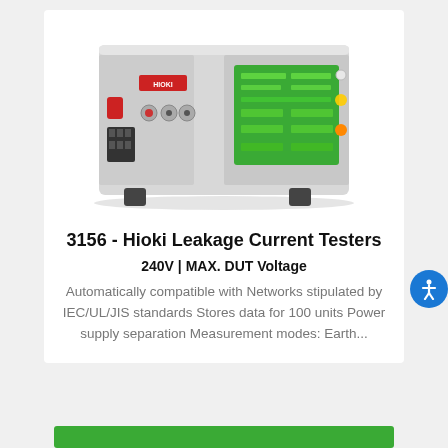[Figure (photo): Photo of Hioki 3156 Leakage Current Tester instrument — a grey/beige bench-top electronic test instrument with a green display panel, red power button, measurement terminals, and black feet.]
3156 - Hioki Leakage Current Testers
240V | MAX. DUT Voltage
Automatically compatible with Networks stipulated by IEC/UL/JIS standards Stores data for 100 units Power supply separation Measurement modes: Earth...